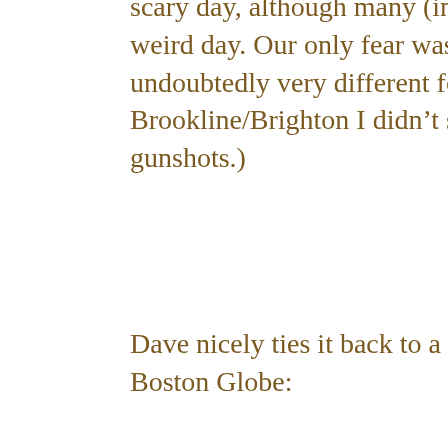scary day, although many (including me) talked about it being a very weird day. Our only fear was that they might get away. (It was undoubtedly very different for people in Watertown. Here in Brookline/Brighton I didn't see any police or hear sirens or gunshots.)
Dave nicely ties it back to a talk he had given the day before to the Boston Globe:
People feel a need to be part of the world they live in. Most of us feel like we're on the sidelines, spectators...